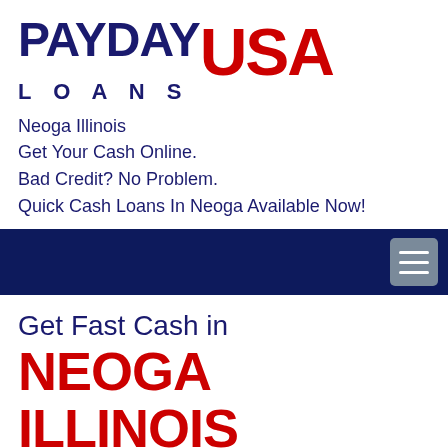[Figure (logo): Payday Loans USA logo with PAYDAY in dark navy bold, USA in large red bold, and LOANS in spaced navy letters below PAYDAY]
Neoga Illinois
Get Your Cash Online.
Bad Credit? No Problem.
Quick Cash Loans In Neoga Available Now!
Get Fast Cash in
NEOGA ILLINOIS
We are here to help you get the cash funding you need in the best way possible. When you need personal loan in the fastest way possible we can help. Our online, personal loan